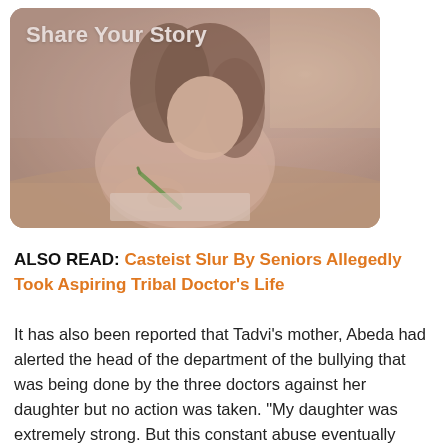[Figure (photo): A young woman with brown hair writing on paper with a green pen, sitting at a wooden desk. The image has a warm, slightly muted tone. The text 'Share Your Story' appears in white bold font in the upper left of the image.]
ALSO READ: Casteist Slur By Seniors Allegedly Took Aspiring Tribal Doctor's Life
It has also been reported that Tadvi's mother, Abeda had alerted the head of the department of the bullying that was being done by the three doctors against her daughter but no action was taken. "My daughter was extremely strong. But this constant abuse eventually broke her. The three accused